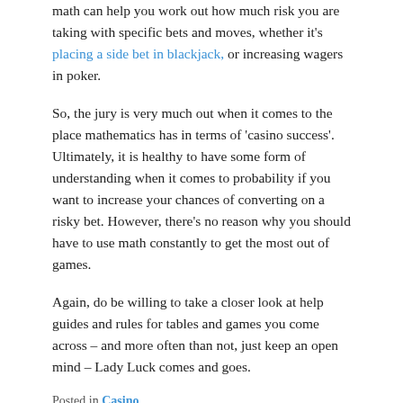math can help you work out how much risk you are taking with specific bets and moves, whether it's placing a side bet in blackjack, or increasing wagers in poker.
So, the jury is very much out when it comes to the place mathematics has in terms of 'casino success'. Ultimately, it is healthy to have some form of understanding when it comes to probability if you want to increase your chances of converting on a risky bet. However, there's no reason why you should have to use math constantly to get the most out of games.
Again, do be willing to take a closer look at help guides and rules for tables and games you come across – and more often than not, just keep an open mind – Lady Luck comes and goes.
Posted in Casino
Take care of these while